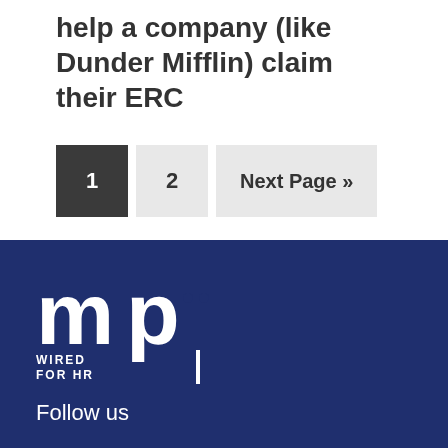help a company (like Dunder Mifflin) claim their ERC
1   2   Next Page »
[Figure (logo): MP Wired for HR logo in white on dark blue background]
Follow us